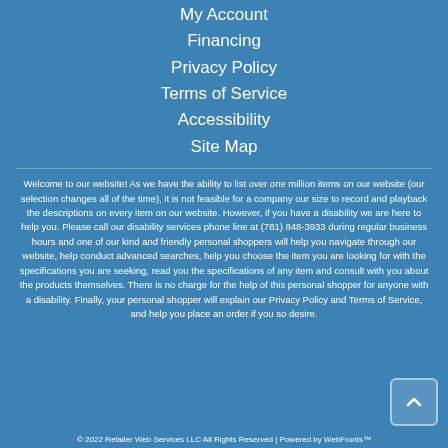My Account
Financing
Privacy Policy
Terms of Service
Accessibility
Site Map
Welcome to our website! As we have the ability to list over one million items on our website (our selection changes all of the time), it is not feasible for a company our size to record and playback the descriptions on every item on our website. However, if you have a disability we are here to help you. Please call our disability services phone line at (781) 848-3933 during regular business hours and one of our kind and friendly personal shoppers will help you navigate through our website, help conduct advanced searches, help you choose the item you are looking for with the specifications you are seeking, read you the specifications of any item and consult with you about the products themselves. There is no charge for the help of this personal shopper for anyone with a disability. Finally, your personal shopper will explain our Privacy Policy and Terms of Service, and help you place an order if you so desire.
© 2022 Retailer Web Services LLC All Rights Reserved | Powered by WebFronts™